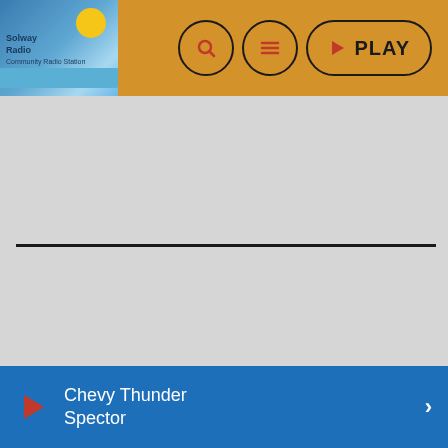Solway Radio - Play
WRITTEN BY: ADMIN
[Figure (infographic): Social share buttons row: Pinterest, Facebook, Twitter, LinkedIn, Email, Tumblr, WhatsApp]
RATE IT ☆ ☆ ☆ ☆ ☆
Chevy Thunder Spector